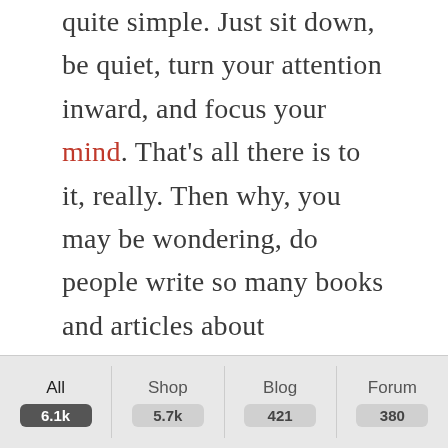quite simple. Just sit down, be quiet, turn your attention inward, and focus your mind. That's all there is to it, really. Then why, you may be wondering, do people write so many books and articles about meditation — including detailed books?
Why not just offer a few brief instructions and forget about all the verbiage? Say that you're planning to take a long trip by car to some picturesque location. You could just jot down the directions and follow them one by one. After a few days, you'd probably get where you want to go. But you'll enjoy the trip more if you have a travel guide to point out the
All 6.1k | Shop 5.7k | Blog 421 | Forum 380